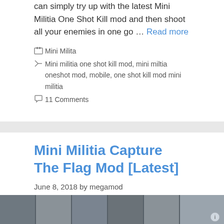can simply try up with the latest Mini Militia One Shot Kill mod and then shoot all your enemies in one go … Read more
Categories: Mini Milita
Tags: Mini militia one shot kill mod, mini miltia oneshot mod, mobile, one shot kill mod mini militia
11 Comments
Mini Militia Capture The Flag Mod [Latest]
June 8, 2018 by megamod
[Figure (screenshot): Thumbnail image strip at bottom of page showing a game screenshot with dark gray panels]